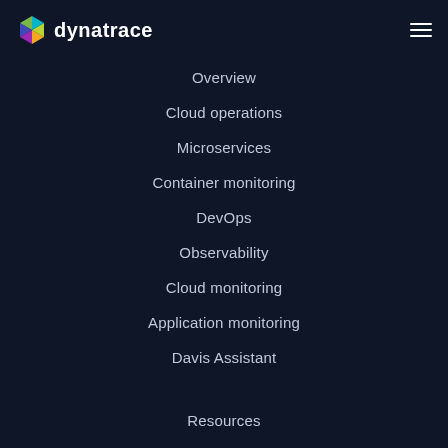dynatrace
Overview
Cloud operations
Microservices
Container monitoring
DevOps
Observability
Cloud monitoring
Application monitoring
Davis Assistant
Resources
Overview